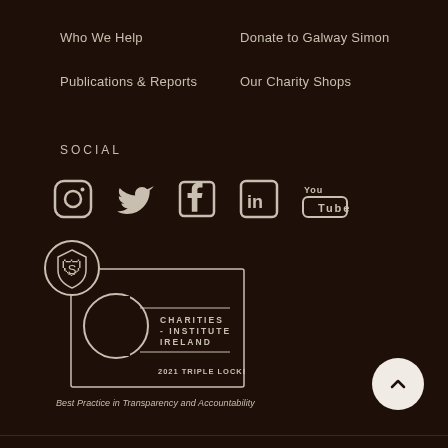Who We Help
Donate to Galway Simon
Publications & Reports
Our Charity Shops
SOCIAL
[Figure (logo): Social media icons: Instagram, Twitter, Facebook, LinkedIn, YouTube]
[Figure (logo): Charities Institute Ireland 2021 Triple Locked Member badge with privacy shield icon]
Best Practice in Transparency and Accountability